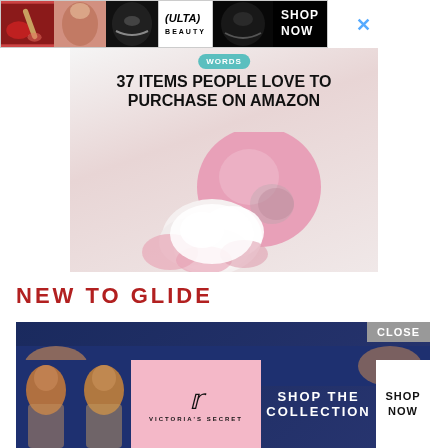[Figure (infographic): ULTA Beauty advertisement banner with makeup model photos, ULTA logo, and SHOP NOW text. Close button (X) visible to the right.]
[Figure (infographic): Article thumbnail image with text overlay '37 ITEMS PEOPLE LOVE TO PURCHASE ON AMAZON' and a pink powder puff/compact makeup product on white background. Small 'WORDS' teal badge at top.]
NEW TO GLIDE
[Figure (infographic): Victoria's Secret advertisement banner with models, Victoria's Secret logo in pink, text 'SHOP THE COLLECTION', SHOP NOW white button, and CLOSE button in top right corner. Dark blue background.]